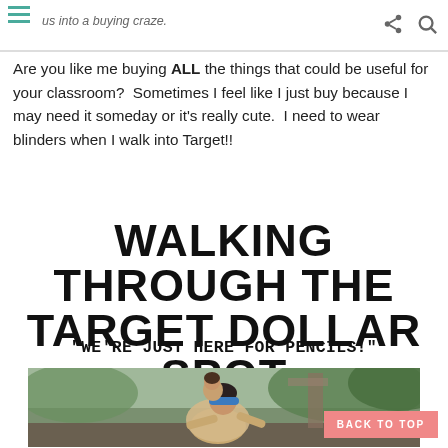us into a buying craze.
Are you like me buying ALL the things that could be useful for your classroom?  Sometimes I feel like I just buy because I may need it someday or it's really cute.  I need to wear blinders when I walk into Target!!
WALKING THROUGH THE TARGET DOLLAR SPOT
"WE'RE JUST HERE FOR PENCILS!"
[Figure (photo): A woman wearing a blue blindfold carrying a child on her back, outdoors with green foliage in background. Still from Bird Box movie, used humorously to illustrate needing to wear blinders in Target.]
BACK TO TOP